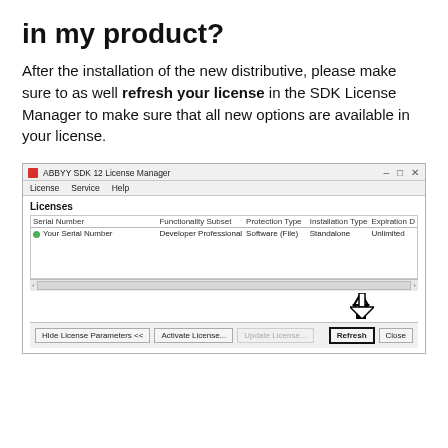in my product?
After the installation of the new distributive, please make sure to as well refresh your license in the SDK License Manager to make sure that all new options are available in your license.
[Figure (screenshot): ABBYY SDK 12 License Manager window showing a Licenses table with Serial Number, Functionality Subset (Developer Professional), Protection Type (Software File), Installation Type (Standalone), Expiration Date (Unlimited). A down arrow points to the highlighted Refresh button in the bottom button row. Other buttons: Hide License Parameters <<, Activate License..., Update License..., Close.]